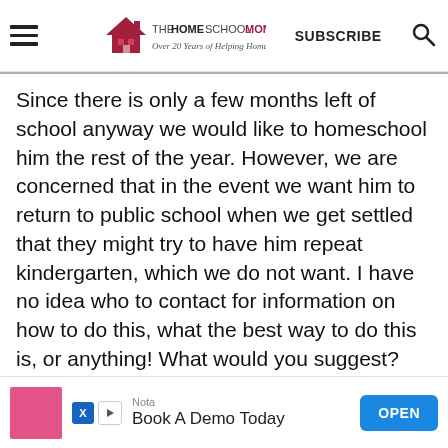THE HOMESCHOOL MOM — Over 20 Years of Helping Homeschoolers! | SUBSCRIBE | Search
Since there is only a few months left of school anyway we would like to homeschool him the rest of the year. However, we are concerned that in the event we want him to return to public school when we get settled that they might try to have him repeat kindergarten, which we do not want. I have no idea who to contact for information on how to do this, what the best way to do this is, or anything! What would you suggest?
[Figure (other): Advertisement banner: Nota — Book A Demo Today — OPEN button]